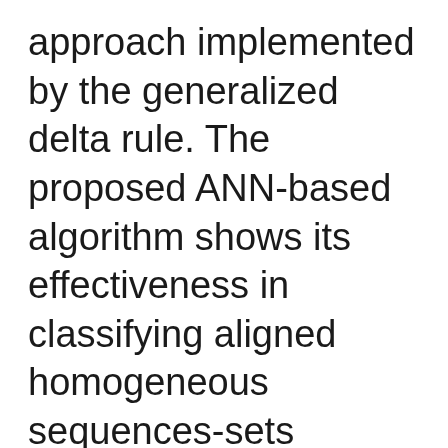approach implemented by the generalized delta rule. The proposed ANN-based algorithm shows its effectiveness in classifying aligned homogeneous sequences-sets (aligned RNA families) in linear feature space [8]. Moreover, Daoud and Kremer [11] proposed a